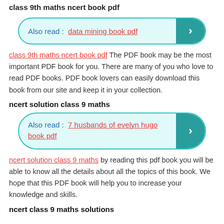class 9th maths ncert book pdf
Also read :  data mining book pdf
class 9th maths ncert book pdf The PDF book may be the most important PDF book for you. There are many of you who love to read PDF books. PDF book lovers can easily download this book from our site and keep it in your collection.
ncert solution class 9 maths
Also read :  7 husbands of evelyn hugo book pdf
ncert solution class 9 maths by reading this pdf book you will be able to know all the details about all the topics of this book. We hope that this PDF book will help you to increase your knowledge and skills.
ncert class 9 maths solutions